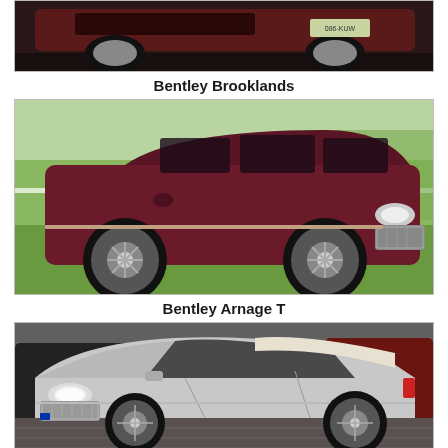[Figure (photo): Bentley Brooklands luxury car, dark maroon/burgundy color, partial view cropped at top of page]
Bentley Brooklands
[Figure (photo): Bentley Arnage T luxury sedan, deep maroon/burgundy color, parked on green grass with trees in background]
Bentley Arnage T
[Figure (photo): Bentley Continental GTC convertible, silver/grey color, parked among other Bentleys, top down]